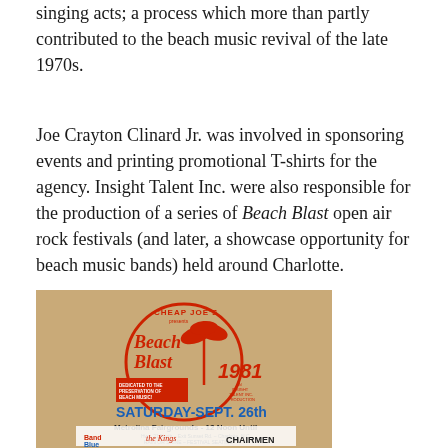singing acts; a process which more than partly contributed to the beach music revival of the late 1970s.
Joe Crayton Clinard Jr. was involved in sponsoring events and printing promotional T-shirts for the agency. Insight Talent Inc. were also responsible for the production of a series of Beach Blast open air rock festivals (and later, a showcase opportunity for beach music bands) held around Charlotte.
[Figure (photo): A vintage promotional poster for 'Beach Blast 1981' presented by Cheap Joe's. The poster shows a stylized beach/palm tree logo in red and orange on a tan background. Text reads: CHEAP JOE'S presents Beach Blast 1981. DEDICATED TO THE PRESERVATION OF BEACH MUSIC! AN INSIGHT TALENT INC. PRODUCTION. SATURDAY-SEPT. 26th. Metrolina Fairgrounds - 12 Noon Until. Hwy. 21 North - Exit Sunset Rd. - Charlotte, N.C. RAIN OR SHINE - FESTIVAL SEATING. FEATURING: Band Blue, The Kings, CHAIRMEN]